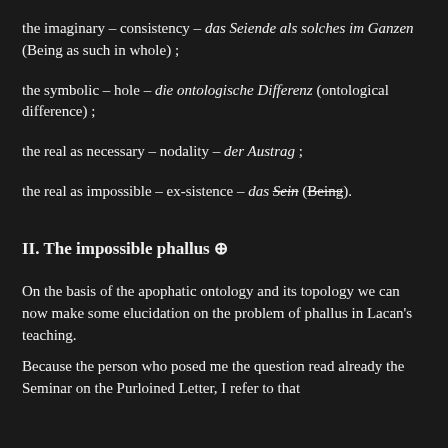the imaginary – consistency – das Seiende als solches im Ganzen (Being as such in whole) ;
the symbolic – hole – die ontologische Differenz (ontological difference) ;
the real as necessary – nodality – der Austrag ;
the real as impossible – ex-sistence – das Sein (Being).
II. The impossible phallus ⊕
On the basis of the apophatic ontology and its topology we can now make some elucidation on the problem of phallus in Lacan's teaching.
Because the person who posed me the question read already the Seminar on the Purloined Letter, I refer to that